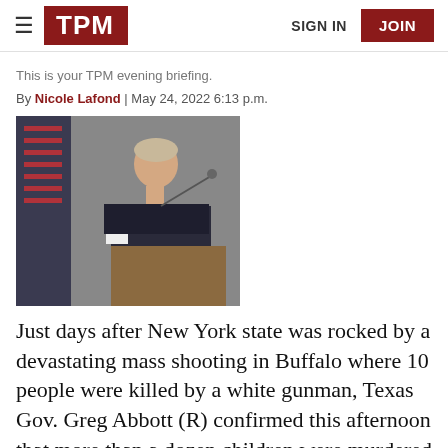TPM | SIGN IN | JOIN
This is your TPM evening briefing.
By Nicole Lafond | May 24, 2022 6:13 p.m.
[Figure (photo): A man in a dark suit speaking at a podium with a microphone, photographed in profile, with an American flag partially visible in the background.]
Just days after New York state was rocked by a devastating mass shooting in Buffalo where 10 people were killed by a white gunman, Texas Gov. Greg Abbott (R) confirmed this afternoon that more than a dozen children were murdered in a school shooting in Uvalde, Texas.